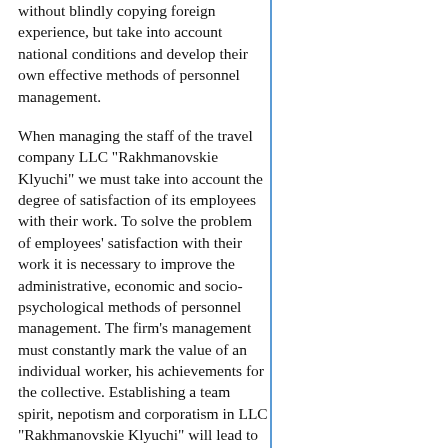without blindly copying foreign experience, but take into account national conditions and develop their own effective methods of personnel management.
When managing the staff of the travel company LLC "Rakhmanovskie Klyuchi" we must take into account the degree of satisfaction of its employees with their work. To solve the problem of employees' satisfaction with their work it is necessary to improve the administrative, economic and socio-psychological methods of personnel management. The firm's management must constantly mark the value of an individual worker, his achievements for the collective. Establishing a team spirit, nepotism and corporatism in LLC "Rakhmanovskie Klyuchi" will lead to improving the